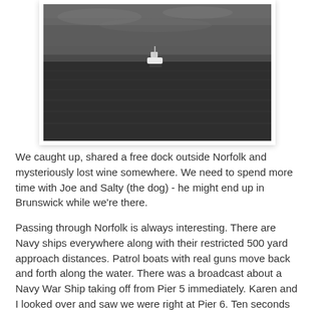[Figure (photo): A dark, moody photograph of open water (ocean or bay) with a small white boat visible in the distance near the horizon. The sky is overcast and grey. The water is dark and rippled.]
We caught up, shared a free dock outside Norfolk and mysteriously lost wine somewhere. We need to spend more time with Joe and Salty (the dog) - he might end up in Brunswick while we're there.
Passing through Norfolk is always interesting. There are Navy ships everywhere along with their restricted 500 yard approach distances. Patrol boats with real guns move back and forth along the water. There was a broadcast about a Navy War Ship taking off from Pier 5 immediately. Karen and I looked over and saw we were right at Pier 6. Ten seconds